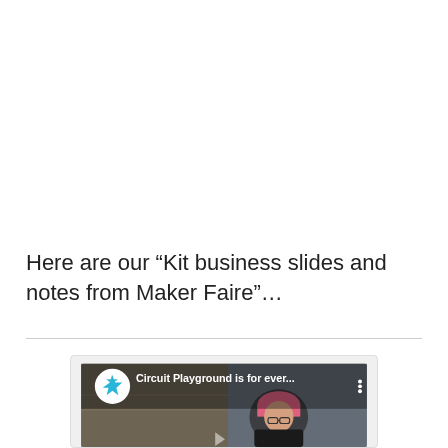Here are our “Kit business slides and notes from Maker Faire”…
[Figure (screenshot): YouTube video embed showing 'Circuit Playground is for ever...' with channel icon (blue star on white circle), woman with pink hair in a workshop/studio background]